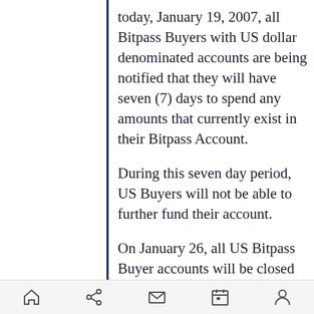today, January 19, 2007, all Bitpass Buyers with US dollar denominated accounts are being notified that they will have seven (7) days to spend any amounts that currently exist in their Bitpass Account.
During this seven day period, US Buyers will not be able to further fund their account.
On January 26, all US Bitpass Buyer accounts will be closed and Digital River will begin the process of refunding all unspent monies to the accountholder.